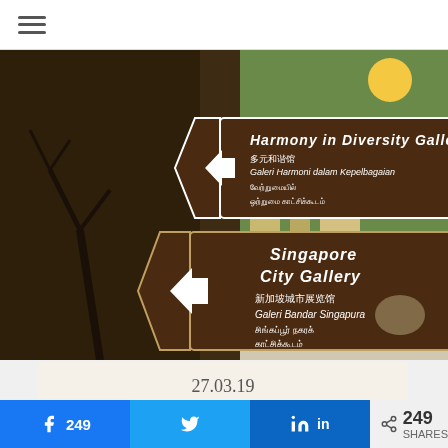☰ (hamburger menu)
[Figure (photo): Two brown directional signs in Singapore. Top sign reads: 'Harmony in Diversity Gallery' in English, Chinese (多元和谐馆), Malay (Galeri Harmoni dalam Kepelbagaian), and Tamil (வேற்றுமையில் ஒற்றுமை காட்சிக்கூடம்). Bottom sign reads: 'Singapore City Gallery' in English, Chinese (新加坡城市展览馆), Malay (Galeri Bandar Singapura), and Tamil (சிங்கப்பூர் நகரக் காட்சிக்கூடம்).]
27.03.19
f 249  N  in  < 249 SHARES